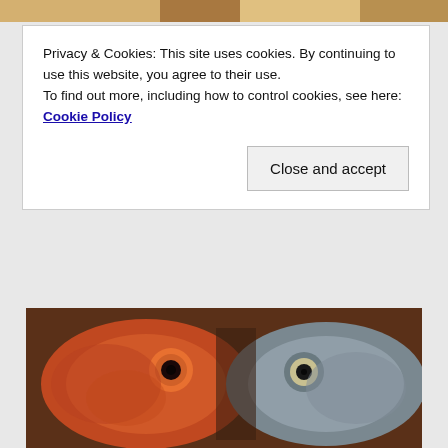[Figure (photo): Partial top image, cropped, appears to show colorful food or fish from above]
Privacy & Cookies: This site uses cookies. By continuing to use this website, you agree to their use.
To find out more, including how to control cookies, see here: Cookie Policy
[Figure (other): Close and accept button]
[Figure (photo): Close-up photo of two fish heads side by side — one red/orange and one gray/silver, showing their large eyes]
12 Cheap Fish You Should Absolutely Never Eat
[Figure (photo): Partial photo of a man's face showing forehead and eyes, dark hair, at bottom of page]